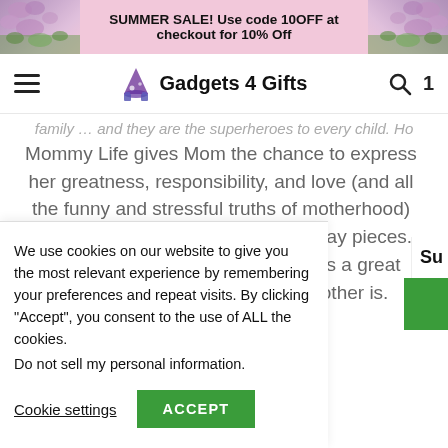SUMMER SALE! Use code 10OFF at checkout for 10% Off
Gadgets 4 Gifts
family … and they are the superheroes to every child. Ho
Mommy Life gives Mom the chance to express her greatness, responsibility, and love (and all the funny and stressful truths of motherhood) through comfortable, casual everyday pieces. This long sleeve t-shirt right here is a great testament to the power that a mother is.
We use cookies on our website to give you the most relevant experience by remembering your preferences and repeat visits. By clicking “Accept”, you consent to the use of ALL the cookies.
Do not sell my personal information.
Cookie settings
ACCEPT